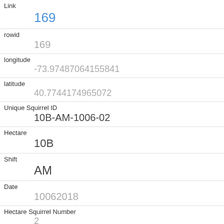| Field | Value |
| --- | --- |
| Link | 169 |
| rowid | 169 |
| longitude | -73.97487064155841 |
| latitude | 40.7744174965072 |
| Unique Squirrel ID | 10B-AM-1006-02 |
| Hectare | 10B |
| Shift | AM |
| Date | 10062018 |
| Hectare Squirrel Number | 2 |
| Age | Juvenile |
| Primary Fur Color |  |